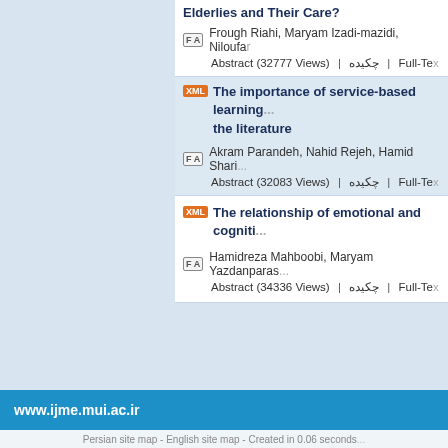Elderlies and Their Care?
FA Frough Riahi, Maryam Izadi-mazidi, Niloufar...
Abstract (32777 Views) | چکیده | Full-Text
The importance of service-based learning... the literature
FA Akram Parandeh, Nahid Rejeh, Hamid Shari...
Abstract (32083 Views) | چکیده | Full-Text
The relationship of emotional and cogniti...
FA Hamidreza Mahboobi, Maryam Yazdanparas...
Abstract (34336 Views) | چکیده | Full-Text
Back to b...
Export as:
www.ijme.mui.ac.ir
Persian site map - English site map - Created in 0.06 seconds...